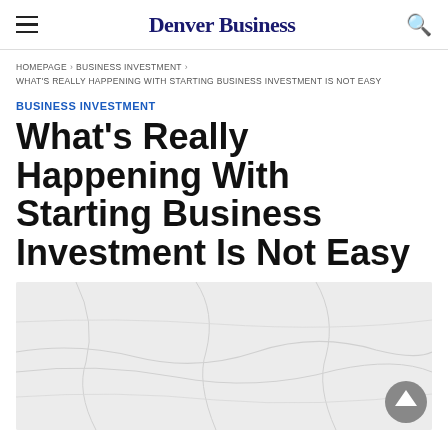Denver Business
HOMEPAGE > BUSINESS INVESTMENT > WHAT'S REALLY HAPPENING WITH STARTING BUSINESS INVESTMENT IS NOT EASY
BUSINESS INVESTMENT
What's Really Happening With Starting Business Investment Is Not Easy
[Figure (photo): Light gray background article image with faint world map or abstract lines pattern; scroll-to-top button (dark gray circle with upward triangle) in lower right corner]